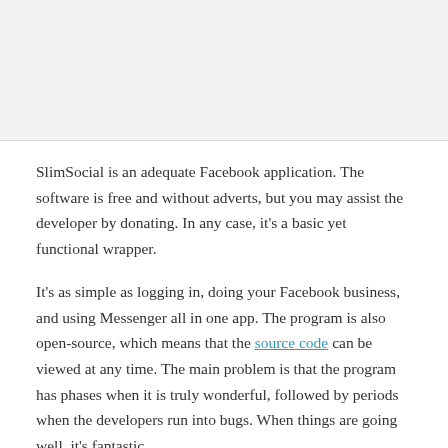[Figure (other): Gray background image area at top of page]
SlimSocial is an adequate Facebook application. The software is free and without adverts, but you may assist the developer by donating. In any case, it’s a basic yet functional wrapper.
It’s as simple as logging in, doing your Facebook business, and using Messenger all in one app. The program is also open-source, which means that the source code can be viewed at any time. The main problem is that the program has phases when it is truly wonderful, followed by periods when the developers run into bugs. When things are going well, it’s fantastic.
9. Video Downloader for Facebook